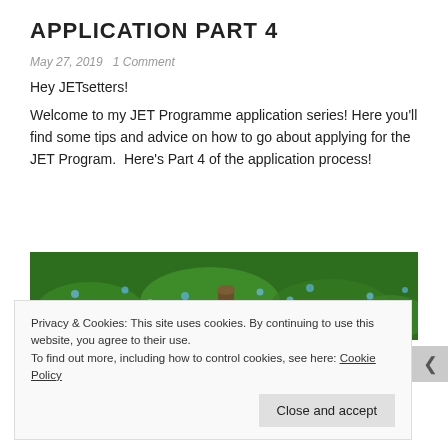APPLICATION PART 4
May 27, 2019   1 Comment
Hey JETsetters!
Welcome to my JET Programme application series! Here you’ll find some tips and advice on how to go about applying for the JET Program.  Here’s Part 4 of the application process!
[Figure (photo): Green landscape/nature photo used as article banner image]
Privacy & Cookies: This site uses cookies. By continuing to use this website, you agree to their use. To find out more, including how to control cookies, see here: Cookie Policy